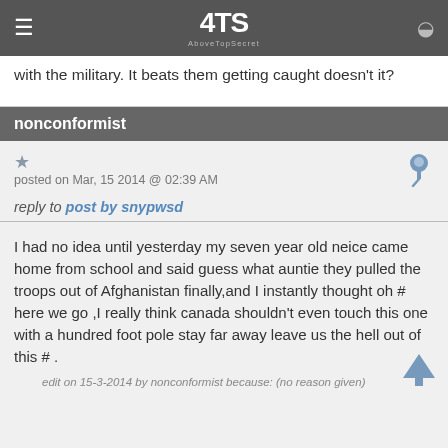AboveTopSecret (ATS) navigation bar with logo
with the military. It beats them getting caught doesn't it?
nonconformist
posted on Mar, 15 2014 @ 02:39 AM
reply to post by snypwsd
I had no idea until yesterday my seven year old neice came home from school and said guess what auntie they pulled the troops out of Afghanistan finally,and I instantly thought oh # here we go ,I really think canada shouldn't even touch this one with a hundred foot pole stay far away leave us the hell out of this # .
edit on 15-3-2014 by nonconformist because: (no reason given)